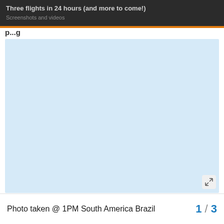Three flights in 24 hours (and more to come!)
Screenshots and videos
p...g
[Figure (photo): Large light blue rectangular image area, mostly blank/empty, representing a photo placeholder]
Photo taken @ 1PM South America Brazil
1 / 3